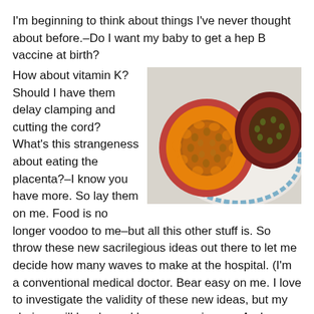I'm beginning to think about things I've never thought about before.–Do I want my baby to get a hep B vaccine at birth?  How about vitamin K?  Should I have them delay clamping and cutting the cord?  What's this strangeness about eating the placenta?–I know you have more.  So lay them on me.  Food is no longer voodoo to me–but all this other stuff is.  So throw these new sacrilegious ideas out there to let me decide how many waves to make at the hospital.  (I'm a conventional medical doctor.  Bear easy on me.  I love to investigate the validity of these new ideas, but my choices will be skewed by my experiences.  And although I already told him to prepare for some waves at the hospital,
[Figure (photo): A passion fruit cut in half showing the orange and seed interior, placed on a decorative blue and white plate]